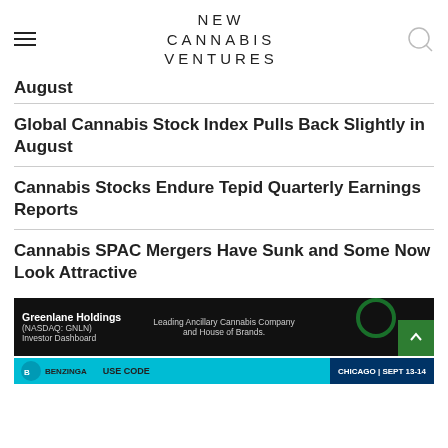NEW CANNABIS VENTURES
August
Global Cannabis Stock Index Pulls Back Slightly in August
Cannabis Stocks Endure Tepid Quarterly Earnings Reports
Cannabis SPAC Mergers Have Sunk and Some Now Look Attractive
[Figure (photo): Greenlane Holdings (NASDAQ: GNLN) Investor Dashboard advertisement — Leading Ancillary Cannabis Company and House of Brands]
[Figure (photo): Benzinga advertisement — USE CODE NEW, CHICAGO | SEPT 13-14]